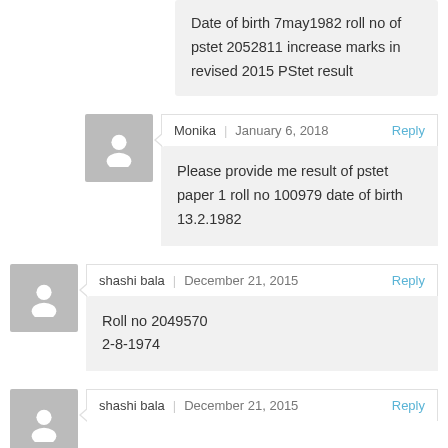Date of birth 7may1982 roll no of pstet 2052811 increase marks in revised 2015 PStet result
Monika | January 6, 2018 Reply
Please provide me result of pstet paper 1 roll no 100979 date of birth 13.2.1982
shashi bala | December 21, 2015 Reply
Roll no 2049570
2-8-1974
shashi bala | December 21, 2015 Reply